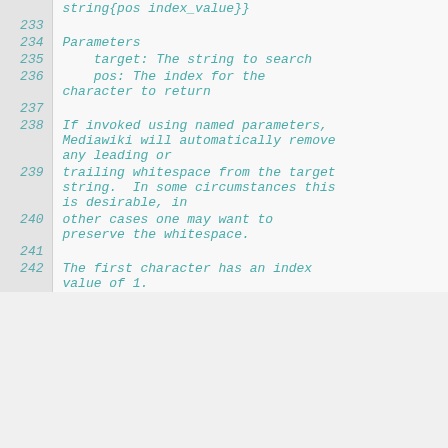string{pos index_value}}
233
234  Parameters
235      target: The string to search
236      pos: The index for the character to return
237
238  If invoked using named parameters, Mediawiki will automatically remove any leading or
239  trailing whitespace from the target string.  In some circumstances this is desirable, in
240  other cases one may want to preserve the whitespace.
241
242  The first character has an index value of 1.